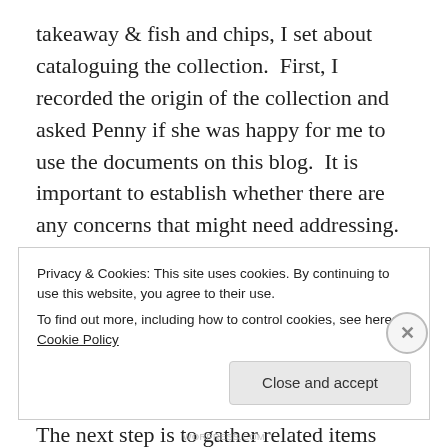takeaway & fish and chips, I set about cataloguing the collection.  First, I recorded the origin of the collection and asked Penny if she was happy for me to use the documents on this blog.  It is important to establish whether there are any concerns that might need addressing.  That covers the first stage (accession) of archival cataloguing described in Provenance of a Personal Collection – Archival Accession, Arrangement and Description.
The next step is to gather related items and put them into
Privacy & Cookies: This site uses cookies. By continuing to use this website, you agree to their use.
To find out more, including how to control cookies, see here: Cookie Policy
Close and accept
WORPRESS.COM